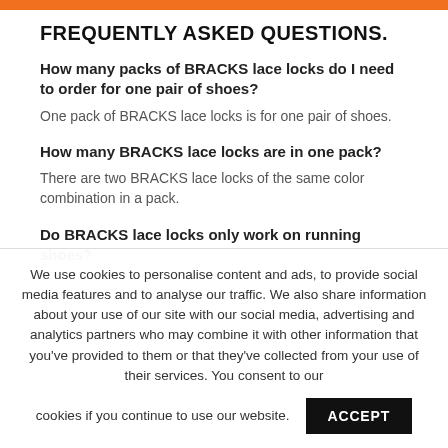FREQUENTLY ASKED QUESTIONS.
How many packs of BRACKS lace locks do I need to order for one pair of shoes?
One pack of BRACKS lace locks is for one pair of shoes.
How many BRACKS lace locks are in one pack?
There are two BRACKS lace locks of the same color combination in a pack.
Do BRACKS lace locks only work on running shoes?
We use cookies to personalise content and ads, to provide social media features and to analyse our traffic. We also share information about your use of our site with our social media, advertising and analytics partners who may combine it with other information that you've provided to them or that they've collected from your use of their services. You consent to our cookies if you continue to use our website.